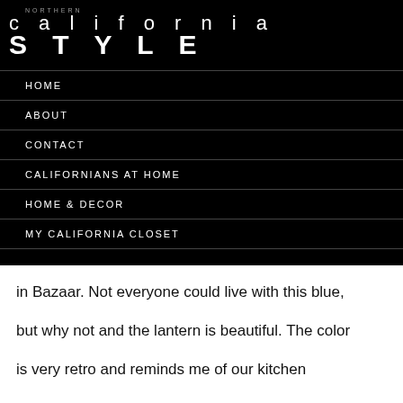NORTHERN california STYLE
HOME
ABOUT
CONTACT
CALIFORNIANS AT HOME
HOME & DECOR
MY CALIFORNIA CLOSET
in Bazaar. Not everyone could live with this blue, but why not and the lantern is beautiful. The color is very retro and reminds me of our kitchen growing up, until my mom got into cornflower